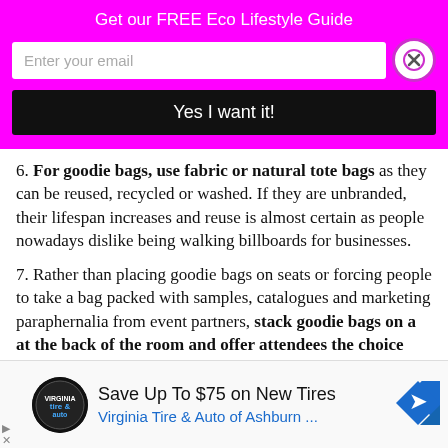Get our FREE Eco Lifestyle Guide
[Figure (screenshot): Email signup form with input field 'Enter your email', close button (X), and black 'Yes I want it!' button on magenta background]
6. For goodie bags, use fabric or natural tote bags as they can be reused, recycled or washed. If they are unbranded, their lifespan increases and reuse is almost certain as people nowadays dislike being walking billboards for businesses.
7. Rather than placing goodie bags on seats or forcing people to take a bag packed with samples, catalogues and marketing paraphernalia from event partners, stack goodie bags on a table at the back of the room and offer attendees the choice to one or not. Many conference and event attendees
[Figure (infographic): Advertisement: Save Up To $75 on New Tires - Virginia Tire & Auto of Ashburn ... with tire/auto logo and blue direction sign icon]